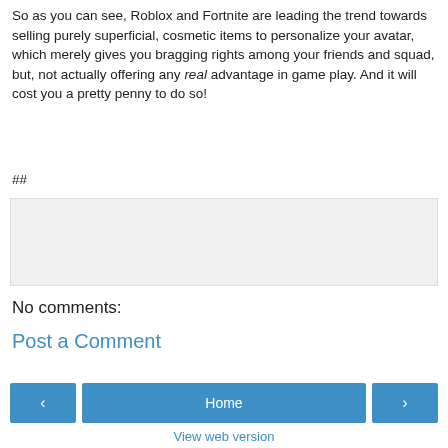So as you can see, Roblox and Fortnite are leading the trend towards selling purely superficial, cosmetic items to personalize your avatar, which merely gives you bragging rights among your friends and squad, but, not actually offering any real advantage in game play. And it will cost you a pretty penny to do so!
##
[Figure (other): Share button widget box with light gray background and a blue Share button]
No comments:
Post a Comment
< Home > View web version